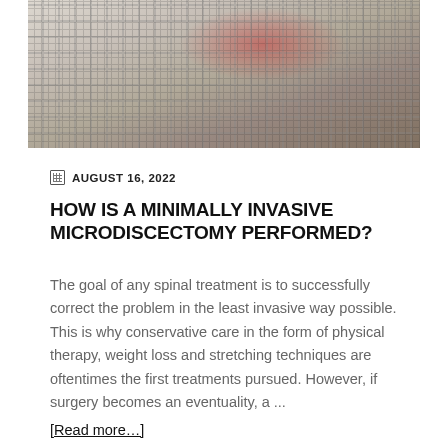[Figure (photo): Person in plaid pajamas lying on a mattress holding their back/lower back area, with a red highlight indicating pain at the spine area.]
AUGUST 16, 2022
HOW IS A MINIMALLY INVASIVE MICRODISCECTOMY PERFORMED?
The goal of any spinal treatment is to successfully correct the problem in the least invasive way possible. This is why conservative care in the form of physical therapy, weight loss and stretching techniques are oftentimes the first treatments pursued. However, if surgery becomes an eventuality, a ...
[Read more...]